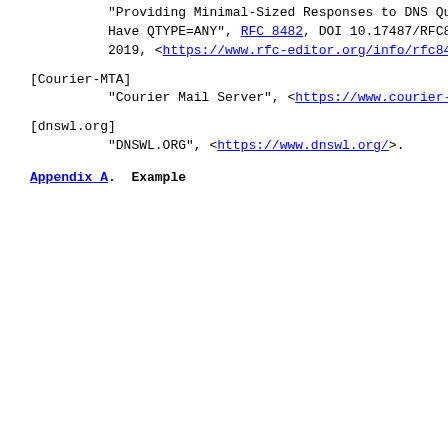"Providing Minimal-Sized Responses to DNS Qu... Have QTYPE=ANY", RFC 8482, DOI 10.17487/RFC8... 2019, <https://www.rfc-editor.org/info/rfc84...
[Courier-MTA]  "Courier Mail Server", <https://www.courier-...
[dnswl.org]  "DNSWL.ORG", <https://www.dnswl.org/>.
Appendix A.  Example